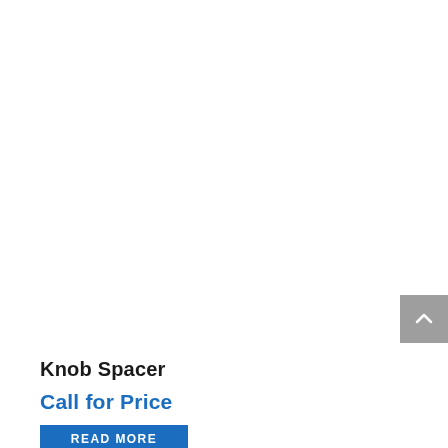[Figure (other): Scroll-to-top button with upward chevron arrow on grey background, positioned at the right edge of the page]
Knob Spacer
Call for Price
READ MORE